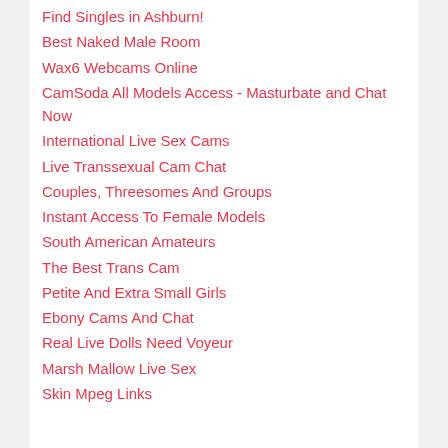Find Singles in Ashburn!
Best Naked Male Room
Wax6 Webcams Online
CamSoda All Models Access - Masturbate and Chat Now
International Live Sex Cams
Live Transsexual Cam Chat
Couples, Threesomes And Groups
Instant Access To Female Models
South American Amateurs
The Best Trans Cam
Petite And Extra Small Girls
Ebony Cams And Chat
Real Live Dolls Need Voyeur
Marsh Mallow Live Sex
Skin Mpeg Links